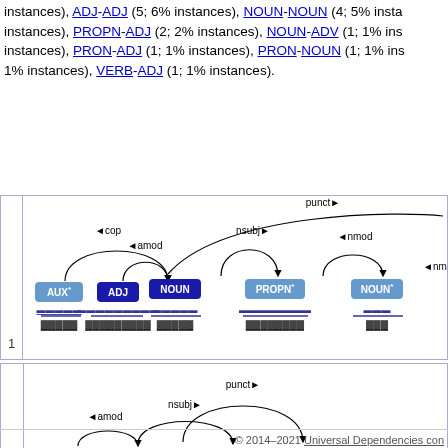instances), ADJ-ADJ (5; 6% instances), NOUN-NOUN (4; 5% instances), PROPN-ADJ (2; 2% instances), NOUN-ADV (1; 1% instances), PRON-ADJ (1; 1% instances), PRON-NOUN (1; 1% instances), 1% instances), VERB-ADJ (1; 1% instances).
[Figure (other): Dependency parse diagram row 1: AUX - ADJ - NOUN - PROPN - NOUN with arcs: cop, amod, nsubj, nmod, punct, nmod]
[Figure (other): Dependency parse diagram row 2: ADJ - ADJ - PRON - PUNCT with arcs: amod, nsubj, punct]
[Figure (other): Dependency parse diagram row 3: NOUN - NOUN - NOUN - PUNCT with arcs: amod, nsubj, punct]
© 2014–2021 Universal Dependencies con